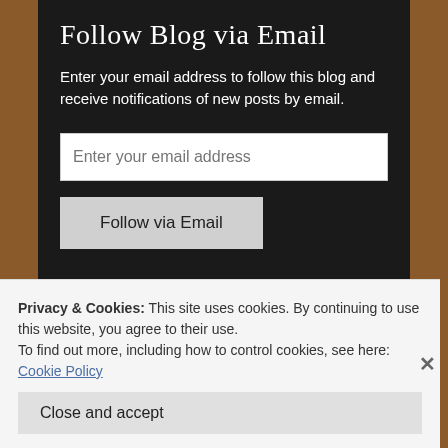Follow Blog via Email
Enter your email address to follow this blog and receive notifications of new posts by email.
Enter your email address
Follow via Email
Archives
Privacy & Cookies: This site uses cookies. By continuing to use this website, you agree to their use.
To find out more, including how to control cookies, see here: Cookie Policy
Close and accept